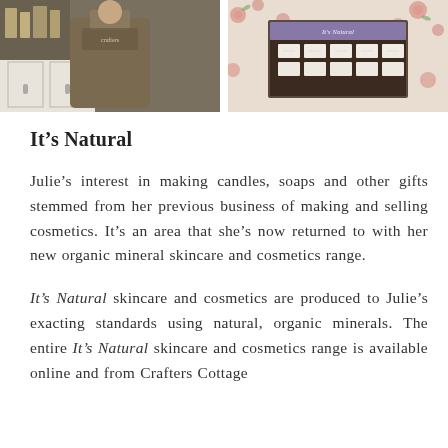[Figure (photo): Two side-by-side photos: left shows a person wearing a brown apron standing behind a white counter/cabinet; right shows a display box with soaps or candles and floral fabric background]
It’s Natural
Julie’s interest in making candles, soaps and other gifts stemmed from her previous business of making and selling cosmetics. It’s an area that she’s now returned to with her new organic mineral skincare and cosmetics range.
It’s Natural skincare and cosmetics are produced to Julie’s exacting standards using natural, organic minerals. The entire It’s Natural skincare and cosmetics range is available online and from Crafters Cottage